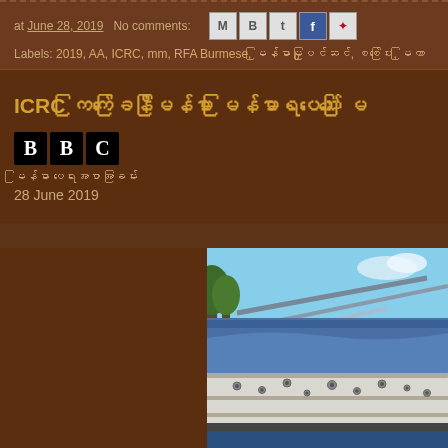at June 28, 2019  No comments:  [social icons]  Labels: 2019, AA, ICRC, mm, RFA Burmese, [Burmese text]
ICRC [Burmese text]
[Figure (logo): BBC logo with three black boxes containing white letters B, B, C]
[Burmese text subtitle]
28 June 2019
[Figure (photo): Photograph of a damaged truck with bullet holes in its white metal side, carrying cargo covered with blue tarpaulin, with metal frame structure visible, trees and sky in background]